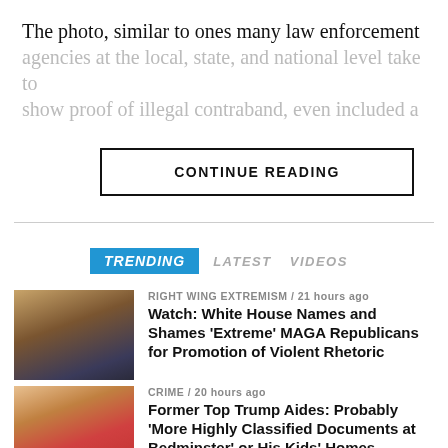The photo, similar to ones many law enforcement agencies at the local, state, and national level take to show proof of illegal contraband, even included a
CONTINUE READING
TRENDING   LATEST   VIDEOS
RIGHT WING EXTREMISM / 21 hours ago
Watch: White House Names and Shames 'Extreme' MAGA Republicans for Promotion of Violent Rhetoric
CRIME / 20 hours ago
Former Top Trump Aides: Probably 'More Highly Classified Documents at Bedminster' or His Kids' Homes